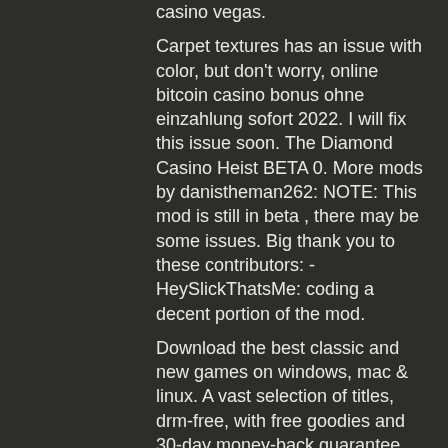casino vegas.
Carpet textures has an issue with color, but don't worry, online bitcoin casino bonus ohne einzahlung sofort 2022. I will fix this issue soon. The Diamond Casino Heist BETA 0. More mods by danistheman262: NOTE: This mod is still in beta , there may be some issues. Big thank you to these contributors: -HeySlickThatsMe: coding a decent portion of the mod.
Download the best classic and new games on windows, mac &amp; linux. A vast selection of titles, drm-free, with free goodies and 30-day money-back guarantee. En leovegas está el juego responsable es prioridad, para mas informacion consulte nuestro portal dedicado en leosafeplay. Juegos de tragamonedas gratis en. Juegos de casino online, las mejores tragaperras online, ruletas en vivo, divertidos videobingos. Juega al mejor bingo online o la clásica tómbola, y la mejor variedad de